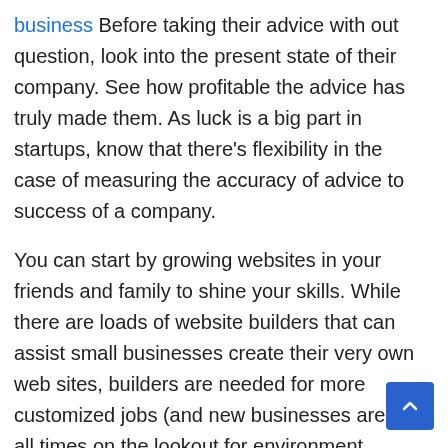business Before taking their advice with out question, look into the present state of their company. See how profitable the advice has truly made them. As luck is a big part in startups, know that there's flexibility in the case of measuring the accuracy of advice to success of a company.
You can start by growing websites in your friends and family to shine your skills. While there are loads of website builders that can assist small businesses create their very own web sites, builders are needed for more customized jobs (and new businesses are at all times on the lookout for environment friendly coders at price-efficient prices). The latter was from the final chapter, which was my favorite.